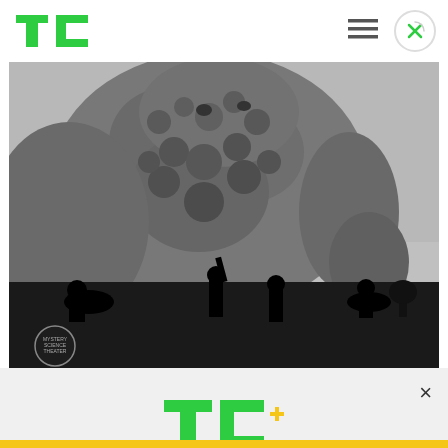TechCrunch logo, hamburger menu, close button
[Figure (photo): Black and white photo of a monster/creature (resembling Godzilla) with silhouettes of people below, including someone with raised arm. Mystery Science Theater 3000 style imagery. Small circular badge/logo in bottom-left corner.]
That Mystery Science Theater 3000 reboot you
[Figure (logo): TC+ logo in green and yellow]
Building a startup or looking for your next deal? We have you covered.
EXPLORE NOW